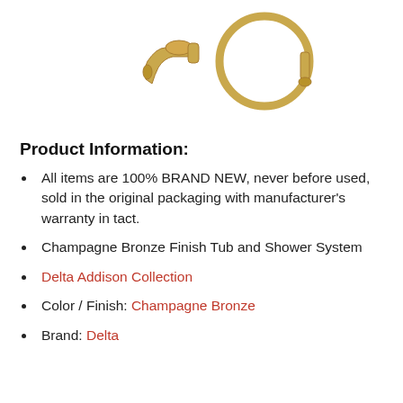[Figure (photo): Champagne bronze tub spout and shower hardware components shown on white background, partially cropped at top of page]
Product Information:
All items are 100% BRAND NEW, never before used, sold in the original packaging with manufacturer's warranty in tact.
Champagne Bronze Finish Tub and Shower System
Delta Addison Collection
Color / Finish: Champagne Bronze
Brand: Delta